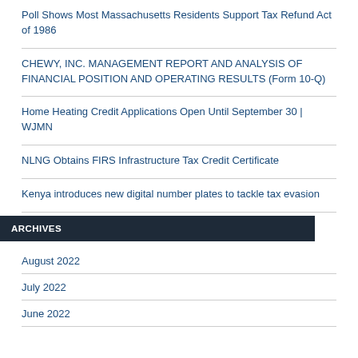Poll Shows Most Massachusetts Residents Support Tax Refund Act of 1986
CHEWY, INC. MANAGEMENT REPORT AND ANALYSIS OF FINANCIAL POSITION AND OPERATING RESULTS (Form 10-Q)
Home Heating Credit Applications Open Until September 30 | WJMN
NLNG Obtains FIRS Infrastructure Tax Credit Certificate
Kenya introduces new digital number plates to tackle tax evasion
ARCHIVES
August 2022
July 2022
June 2022